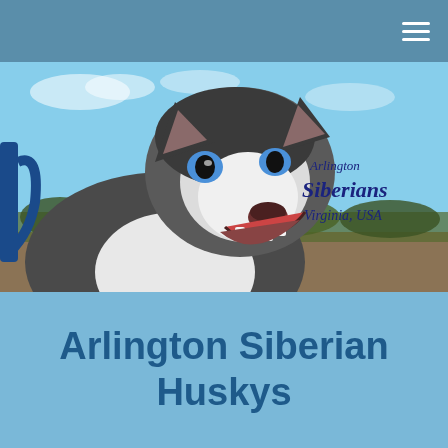Navigation bar with hamburger menu icon
[Figure (photo): Close-up photo of a Siberian Husky dog with blue eyes, wearing a blue leash harness, mouth open showing teeth, photographed outdoors against a blue sky with trees in the background. Text overlay on the right side reads 'Arlington Siberians Virginia, USA' in dark blue/navy serif font.]
Arlington Siberian Huskys